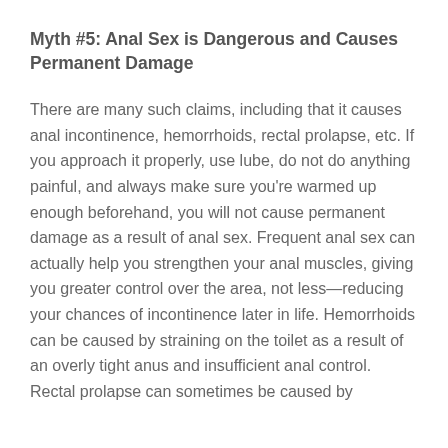Myth #5: Anal Sex is Dangerous and Causes Permanent Damage
There are many such claims, including that it causes anal incontinence, hemorrhoids, rectal prolapse, etc. If you approach it properly, use lube, do not do anything painful, and always make sure you're warmed up enough beforehand, you will not cause permanent damage as a result of anal sex. Frequent anal sex can actually help you strengthen your anal muscles, giving you greater control over the area, not less—reducing your chances of incontinence later in life. Hemorrhoids can be caused by straining on the toilet as a result of an overly tight anus and insufficient anal control. Rectal prolapse can sometimes be caused by